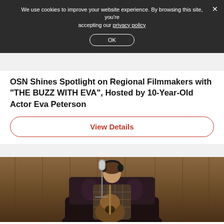We use cookies to improve your website experience. By browsing this site, you're accepting our privacy policy
OK
OSN Shines Spotlight on Regional Filmmakers with "THE BUZZ WITH EVA", Hosted by 10-Year-Old Actor Eva Peterson
View Details
[Figure (photo): A woman with headphones sitting on a patterned chair/sofa, singing or recording at a studio microphone while holding an acoustic guitar, in front of a wooden wall background.]